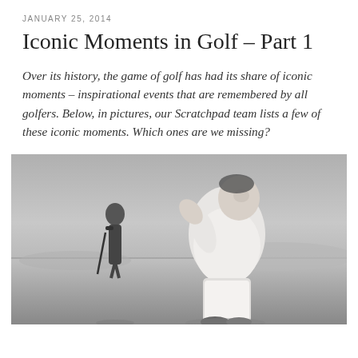JANUARY 25, 2014
Iconic Moments in Golf – Part 1
Over its history, the game of golf has had its share of iconic moments – inspirational events that are remembered by all golfers. Below, in pictures, our Scratchpad team lists a few of these iconic moments. Which ones are we missing?
[Figure (photo): Black and white photograph of a golfer celebrating or reacting emotionally on a golf course, with another golfer visible in the background holding a club.]